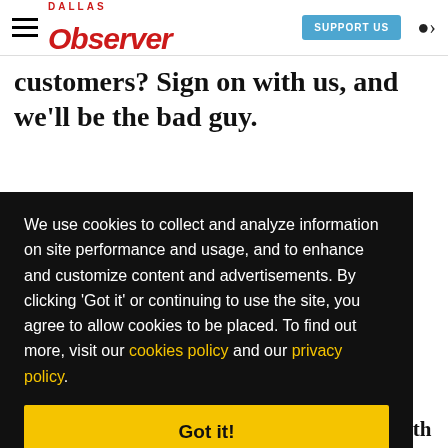Observer — SUPPORT US
customers? Sign on with us, and we'll be the bad guy.
We use cookies to collect and analyze information on site performance and usage, and to enhance and customize content and advertisements. By clicking 'Got it' or continuing to use the site, you agree to allow cookies to be placed. To find out more, visit our cookies policy and our privacy policy.
Got it!
Never even heard of that  But I don't work with
or the h go s lf, No his re," he ve with